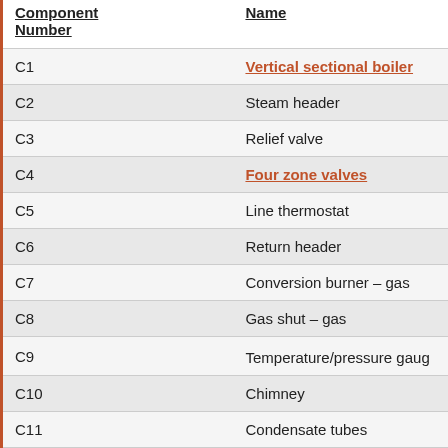| Component Number | Name |
| --- | --- |
| C1 | Vertical sectional boiler |
| C2 | Steam header |
| C3 | Relief valve |
| C4 | Four zone valves |
| C5 | Line thermostat |
| C6 | Return header |
| C7 | Conversion burner – gas |
| C8 | Gas shut – gas |
| C9 | Temperature/pressure gauge |
| C10 | Chimney |
| C11 | Condensate tubes |
| C12 | Coal bin (estimated position) |
| C13 | Coal shute window |